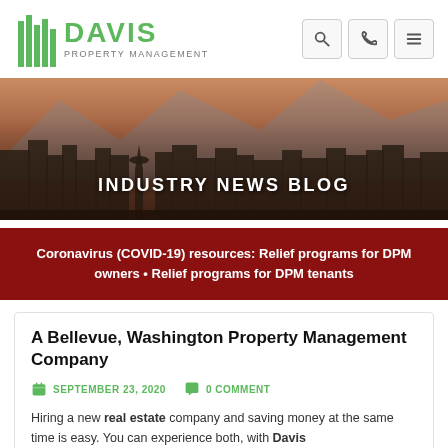[Figure (logo): Davis Property Management logo with green building icon and green DAVIS text with PROPERTY MANAGEMENT subtitle]
[Figure (photo): Seattle skyline at dusk/sunset with Space Needle visible, mountains in background, city buildings silhouetted]
INDUSTRY NEWS BLOG
Coronavirus (COVID-19) resources: Relief programs for DPM owners • Relief programs for DPM tenants
A Bellevue, Washington Property Management Company
SEPTEMBER 23, 2020   0 COMMENT
Hiring a new real estate company and saving money at the same time is easy. You can experience both, with Davis